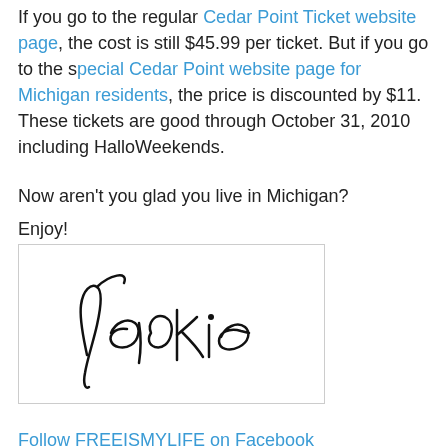If you go to the regular Cedar Point Ticket website page, the cost is still $45.99 per ticket. But if you go to the special Cedar Point website page for Michigan residents, the price is discounted by $11. These tickets are good through October 31, 2010 including HalloWeekends.
Now aren't you glad you live in Michigan?
Enjoy!
[Figure (illustration): Handwritten cursive signature reading 'Jackie' in black ink on white background inside a bordered box]
Follow FREEISMYLIFE on Facebook
I will do a GIVEAWAY when I reach 100 followers !!!
[Figure (photo): Broken/placeholder image inside a bordered box, showing a small broken image icon in the top left corner]